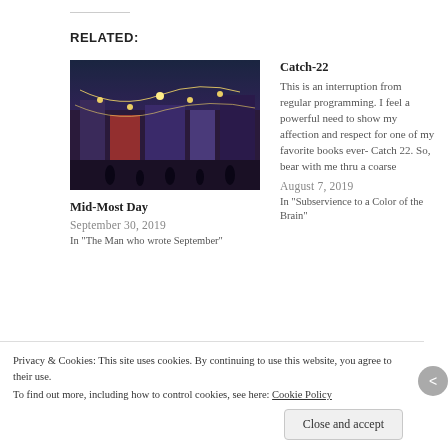RELATED:
[Figure (photo): Night street scene with Christmas lights in a European city, illuminated buildings and crowds of people walking]
Mid-Most Day
September 30, 2019
In "The Man who wrote September"
Catch-22
This is an interruption from regular programming. I feel a powerful need to show my affection and respect for one of my favorite books ever- Catch 22. So, bear with me thru a coarse
August 7, 2019
In "Subservience to a Color of the Brain"
[Figure (photo): Palm trees silhouetted against a warm orange/pink sunset sky]
Privacy & Cookies: This site uses cookies. By continuing to use this website, you agree to their use.
To find out more, including how to control cookies, see here: Cookie Policy
Close and accept